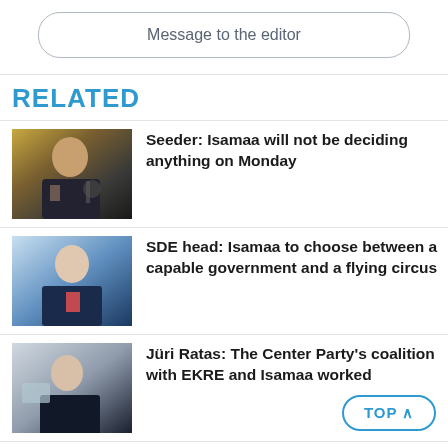Message to the editor
RELATED
[Figure (photo): Man in dark suit speaking, being interviewed with microphone]
Seeder: Isamaa will not be deciding anything on Monday
[Figure (photo): Young man in dark suit with pink tie]
SDE head: Isamaa to choose between a capable government and a flying circus
[Figure (photo): Man in dark suit at podium or event]
Jüri Ratas: The Center Party's coalition with EKRE and Isamaa worked
TOP ^